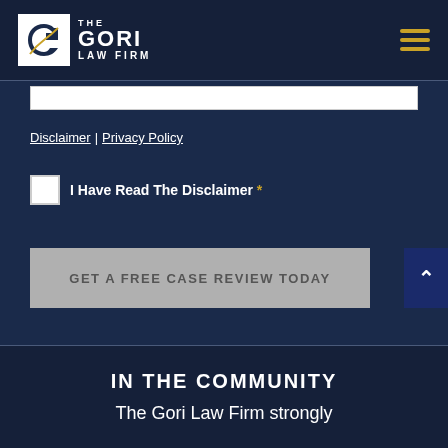THE GORI LAW FIRM
Disclaimer | Privacy Policy
I Have Read The Disclaimer *
GET A FREE CASE REVIEW TODAY
IN THE COMMUNITY
The Gori Law Firm strongly